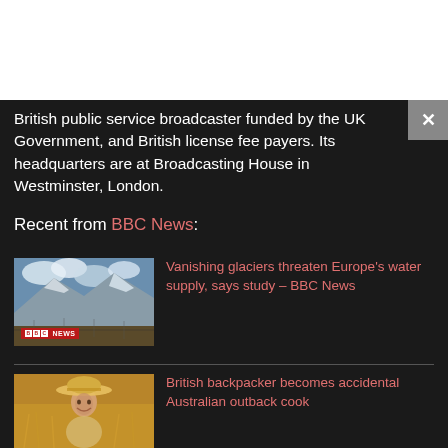British public service broadcaster funded by the UK Government, and British license fee payers. Its headquarters are at Broadcasting House in Westminster, London.
Recent from BBC News:
[Figure (photo): Thumbnail image of vanishing glaciers with BBC News badge overlay]
Vanishing glaciers threaten Europe's water supply, says study – BBC News
[Figure (photo): Thumbnail image of a person wearing a straw hat in an outback setting]
British backpacker becomes accidental Australian outback cook